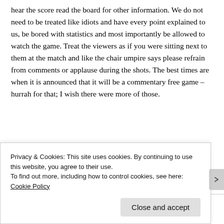hear the score read the board for other information. We do not need to be treated like idiots and have every point explained to us, be bored with statistics and most importantly be allowed to watch the game. Treat the viewers as if you were sitting next to them at the match and like the chair umpire says please refrain from comments or applause during the shots. The best times are when it is announced that it will be a commentary free game – hurrah for that; I wish there were more of those.
★ Like
[Figure (logo): Small red logo/icon with text in monospace style]
Privacy & Cookies: This site uses cookies. By continuing to use this website, you agree to their use.
To find out more, including how to control cookies, see here: Cookie Policy
Close and accept